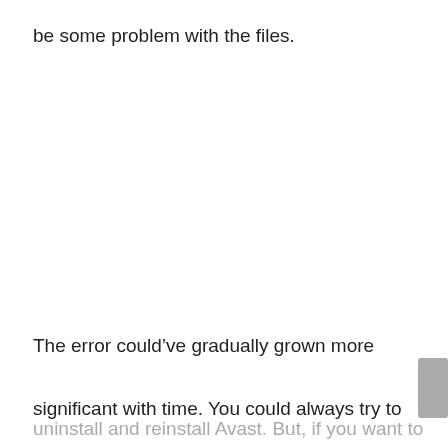be some problem with the files.
The error could’ve gradually grown more significant with time. You could always try to
uninstall and reinstall Avast. But, if you want to